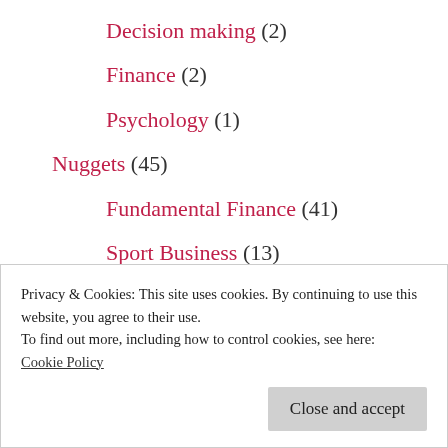Decision making (2)
Finance (2)
Psychology (1)
Nuggets (45)
Fundamental Finance (41)
Sport Business (13)
Profiles (19)
Companies (12)
Industries (2)
Privacy & Cookies: This site uses cookies. By continuing to use this website, you agree to their use.
To find out more, including how to control cookies, see here:
Cookie Policy
Close and accept